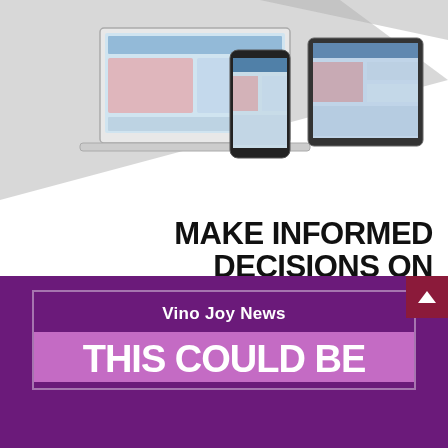[Figure (illustration): Devices mockup showing laptop, smartphone, and tablet displaying wine news website content on a gray geometric background]
MAKE INFORMED DECISIONS ON CHINA
Don't miss anything on China's dynamic and complicated wine market!
SIGN UP NOW
Vino Joy News
THIS COULD BE